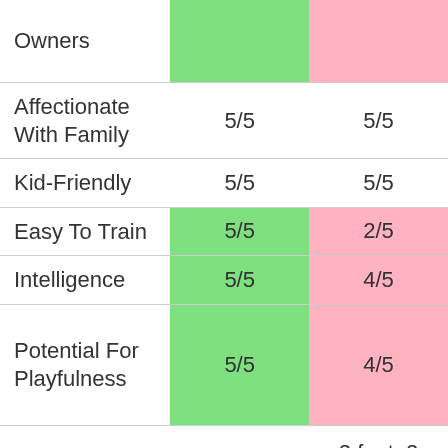|  | Col1 | Col2 |
| --- | --- | --- |
| Owners |  |  |
| Affectionate With Family | 5/5 | 5/5 |
| Kid-Friendly | 5/5 | 5/5 |
| Easy To Train | 5/5 | 2/5 |
| Intelligence | 5/5 | 4/5 |
| Potential For Playfulness | 5/5 | 4/5 |
|  |  | 2 feet, 2 |